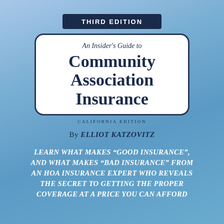THIRD EDITION
An Insider's Guide to Community Association Insurance
CALIFORNIA EDITION
By ELLIOT KATZOVITZ
LEARN WHAT MAKES "GOOD INSURANCE", AND WHAT MAKES "BAD INSURANCE" FROM AN HOA INSURANCE EXPERT WHO REVEALS THE SECRET TO GETTING THE PROPER COVERAGE AT A PRICE YOU CAN AFFORD